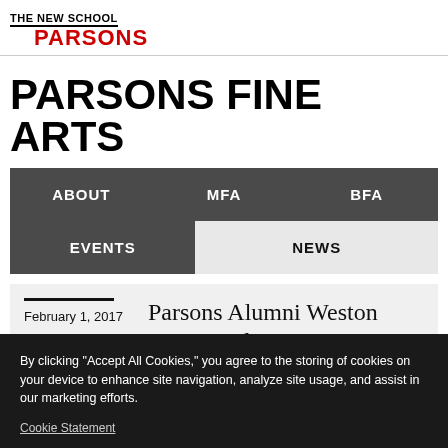THE NEW SCHOOL PARSONS
PARSONS FINE ARTS
ABOUT   MFA   BFA   EVENTS   NEWS
February 1, 2017
Parsons Alumni Weston Frazer and
By clicking "Accept All Cookies," you agree to the storing of cookies on your device to enhance site navigation, analyze site usage, and assist in our marketing efforts.
Cookie Statement